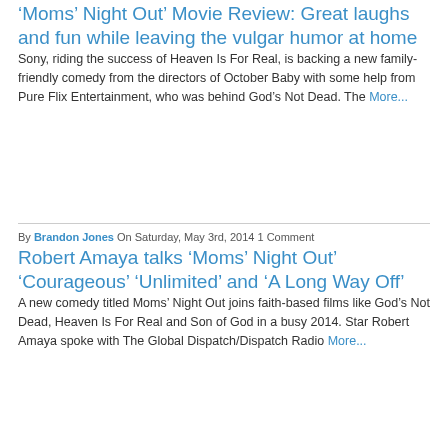‘Moms’ Night Out’ Movie Review: Great laughs and fun while leaving the vulgar humor at home
Sony, riding the success of Heaven Is For Real, is backing a new family-friendly comedy from the directors of October Baby with some help from Pure Flix Entertainment, who was behind God’s Not Dead. The More...
By Brandon Jones On Saturday, May 3rd, 2014 1 Comment
Robert Amaya talks ‘Moms’ Night Out’ ‘Courageous’ ‘Unlimited’ and ‘A Long Way Off’
A new comedy titled Moms’ Night Out joins faith-based films like God’s Not Dead, Heaven Is For Real and Son of God in a busy 2014. Star Robert Amaya spoke with The Global Dispatch/Dispatch Radio More...